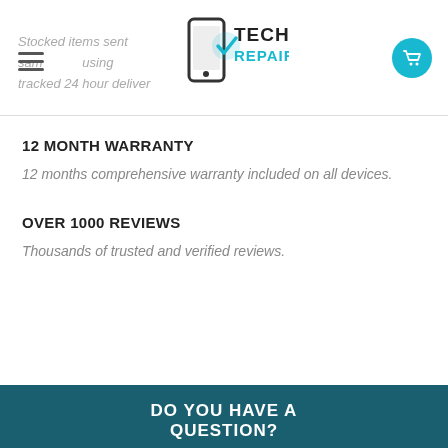Tech Repairs — header with logo, hamburger menu, cart icon
Stocked items sent same day using tracked 24 hour delivery
12 MONTH WARRANTY
12 months comprehensive warranty included on all devices.
OVER 1000 REVIEWS
Thousands of trusted and verified reviews.
DO YOU HAVE A QUESTION?
Most common questions are answered in our FAQ section but if you have a query we haven't addressed, please contact us by